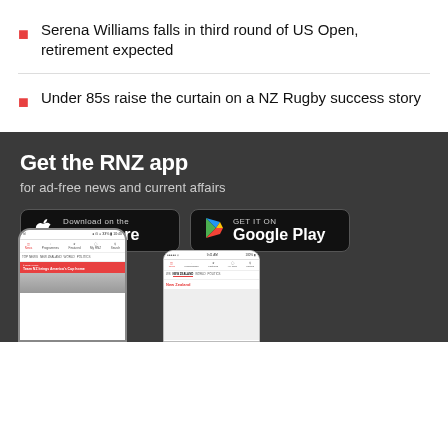Serena Williams falls in third round of US Open, retirement expected
Under 85s raise the curtain on a NZ Rugby success story
[Figure (infographic): RNZ app advertisement banner on dark background showing 'Get the RNZ app for ad-free news and current affairs' with Apple App Store and Google Play download buttons, and two smartphone mockups showing the RNZ app interface]